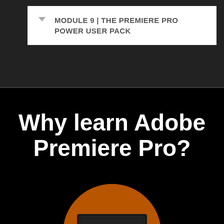MODULE 9 | THE PREMIERE PRO POWER USER PACK
Why learn Adobe Premiere Pro?
[Figure (photo): Circular cropped photo of a laptop displaying Adobe Premiere Pro video editing software, with a colorful background with orange tones]